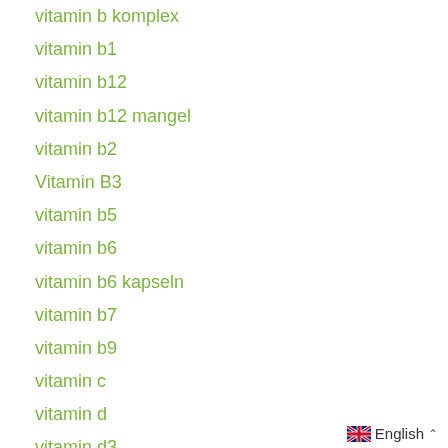vitamin b komplex
vitamin b1
vitamin b12
vitamin b12 mangel
vitamin b2
Vitamin B3
vitamin b5
vitamin b6
vitamin b6 kapseln
vitamin b7
vitamin b9
vitamin c
vitamin d
vitamin d3
vitamin d3 kapseln
English ^